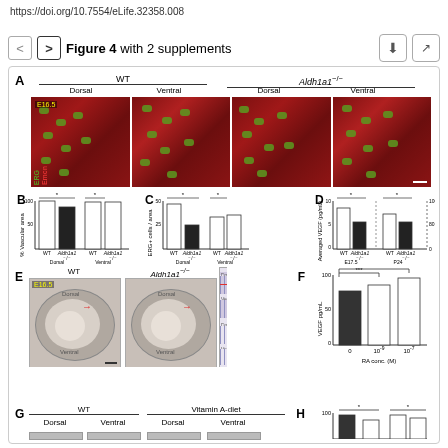https://doi.org/10.7554/eLife.32358.008
Figure 4 with 2 supplements
[Figure (photo): Panel A: Fluorescence microscopy images showing ERG (green) and Emcn (red) staining in retinal vasculature at E16.5 for WT Dorsal, WT Ventral, Aldh1a1-/- Dorsal, and Aldh1a1-/- Ventral conditions.]
[Figure (bar-chart): B: % Vascular area]
[Figure (bar-chart): C: ERG+ cells / area]
[Figure (bar-chart): D: Averaged VEGF (pg/mL)]
[Figure (photo): Panel E: In situ hybridization images of E16.5 WT and Aldh1a1-/- retinas showing dorsal and ventral regions, plus magnified strip images for WT and Aldh1a1-/- with arrows indicating expression differences.]
[Figure (bar-chart): F: VEGF (pg/mL) vs RA concentration]
[Figure (photo): Panel G: Microscopy images showing WT Dorsal, WT Ventral, Vitamin A-diet Dorsal, Vitamin A-diet Ventral (partially visible).]
[Figure (bar-chart): H: (partially visible bar chart)]